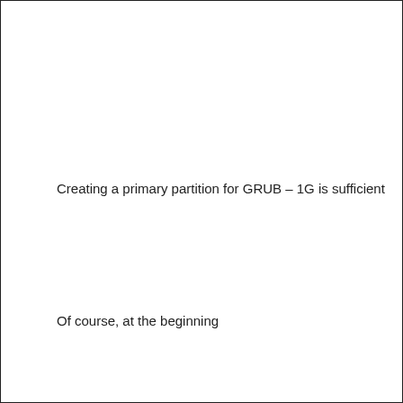Creating a primary partition for GRUB – 1G is sufficient
Of course, at the beginning